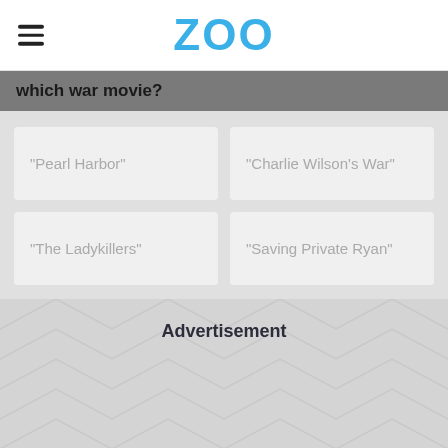ZOO
which war movie?
"Pearl Harbor"
"Charlie Wilson's War"
"The Ladykillers"
"Saving Private Ryan"
Advertisement